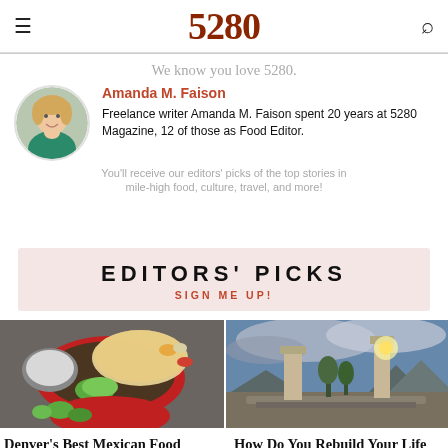5280
We know you love 5280.
Amanda M. Faison
Freelance writer Amanda M. Faison spent 20 years at 5280 Magazine, 12 of those as Food Editor.
You'll receive our editors' picks of the top stories in mile-high food, culture, travel, and more!
EDITORS' PICKS
SIGN ME UP!
[Figure (photo): Photo of Mexican food dishes on red plates with salsas and sides]
[Figure (photo): Photo of fire-damaged property with standing chimneys against a cloudy mountain sky]
Denver's Best Mexican Food
How Do You Rebuild Your Life After Losing